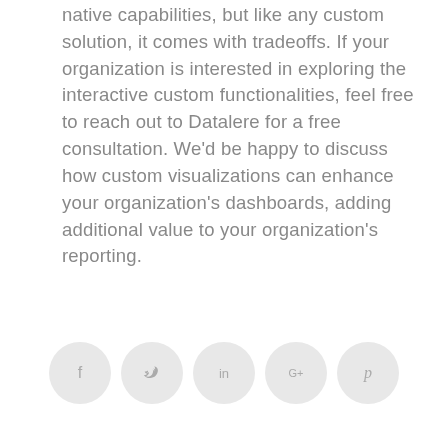native capabilities, but like any custom solution, it comes with tradeoffs. If your organization is interested in exploring the interactive custom functionalities, feel free to reach out to Datalere for a free consultation. We'd be happy to discuss how custom visualizations can enhance your organization's dashboards, adding additional value to your organization's reporting.
[Figure (other): Social media sharing icons: Facebook (f), Twitter (bird), LinkedIn (in), Google Plus (G+), Pinterest (P) — each in a light grey circle]